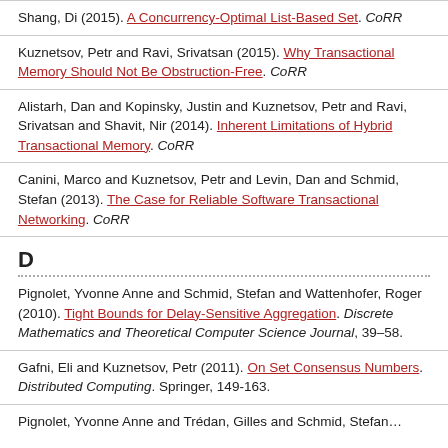Shang, Di (2015). A Concurrency-Optimal List-Based Set. CoRR
Kuznetsov, Petr and Ravi, Srivatsan (2015). Why Transactional Memory Should Not Be Obstruction-Free. CoRR
Alistarh, Dan and Kopinsky, Justin and Kuznetsov, Petr and Ravi, Srivatsan and Shavit, Nir (2014). Inherent Limitations of Hybrid Transactional Memory. CoRR
Canini, Marco and Kuznetsov, Petr and Levin, Dan and Schmid, Stefan (2013). The Case for Reliable Software Transactional Networking. CoRR
D
Pignolet, Yvonne Anne and Schmid, Stefan and Wattenhofer, Roger (2010). Tight Bounds for Delay-Sensitive Aggregation. Discrete Mathematics and Theoretical Computer Science Journal, 39–58.
Gafni, Eli and Kuznetsov, Petr (2011). On Set Consensus Numbers. Distributed Computing. Springer, 149-163.
Pignolet, Yvonne Anne and Trédan, Gilles and Schmid, Stefan…